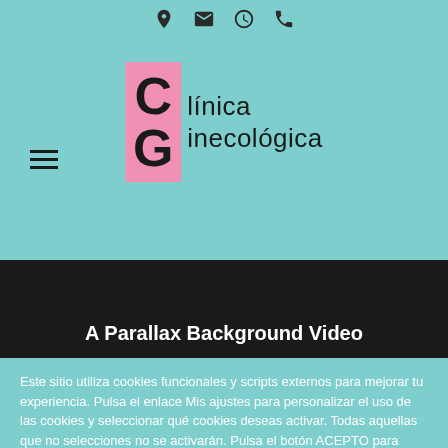Icons: location, email, clock, phone
[Figure (logo): Clínica Ginecológica logo with pink bar background and CG letters]
A Parallax Background Video
Este sitio utiliza cookies funcionales y scripts externos para mejorar tu experiencia. Pulsa el enlace Mis ajustes para personalizar el uso de las cookies y seleccionar qué cookies deseas activar. Todas aquellas que no selecciones no se activarán. Pulsa el botón ACEPTO para aceptar todas las cookies.
Mis ajustes | ACEPTO